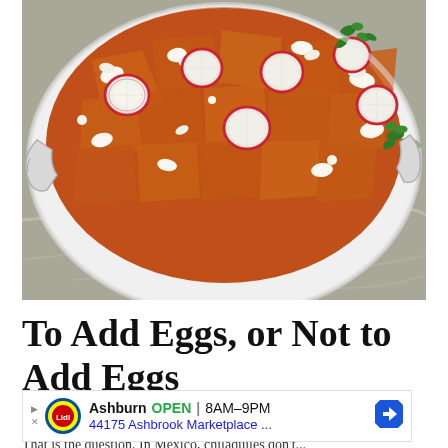[Figure (photo): A large skillet/pan filled with chilaquiles - tortilla chips in red/orange sauce, topped with sliced radishes, crumbled white cheese (queso fresco), and fresh cilantro. The pan is silver/stainless steel with handles, sitting on a marble surface.]
To Add Eggs, or Not to Add Eggs
[Figure (other): Advertisement banner for Lidl store in Ashburn showing OPEN 8AM-9PM, 44175 Ashbrook Marketplace ..., with Lidl logo and navigation/map icons]
That is the question. In Mexico, chilaquiles don't...